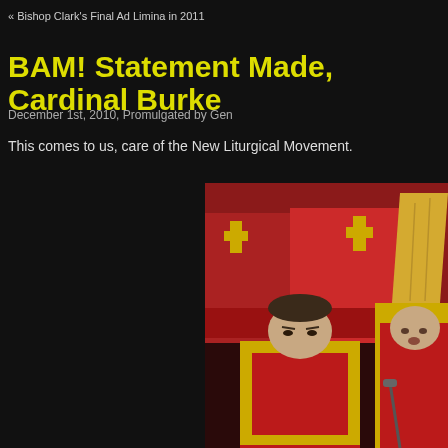« Bishop Clark's Final Ad Limina in 2011
BAM! Statement Made, Cardinal Burke
December 1st, 2010, Promulgated by Gen
This comes to us, care of the New Liturgical Movement.
[Figure (photo): Catholic clergy in red and gold vestments, including a bishop wearing a tall gold mitre, seated and standing during a liturgical ceremony. In the foreground is a young man in red and gold vestments, and behind him are seated clergy in red robes with gold crosses.]